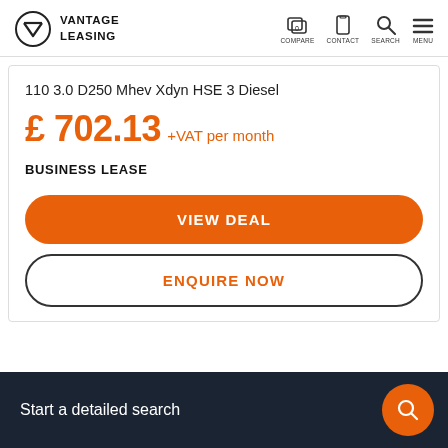VANTAGE LEASING — COMPARE CONTACT SEARCH MENU
110 3.0 D250 Mhev Xdyn HSE 3 Diesel
£ 702.13 +VAT per month
BUSINESS LEASE
VIEW DEAL
ENQUIRE NOW
Start a detailed search